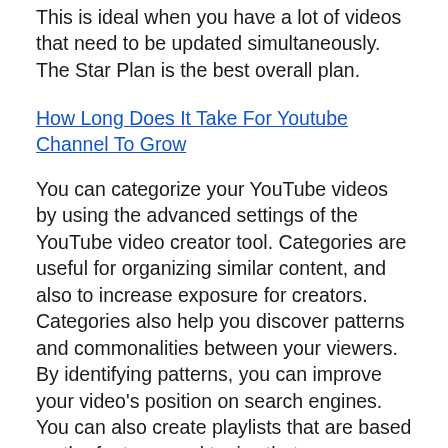This is ideal when you have a lot of videos that need to be updated simultaneously. The Star Plan is the best overall plan.
How Long Does It Take For Youtube Channel To Grow
You can categorize your YouTube videos by using the advanced settings of the YouTube video creator tool. Categories are useful for organizing similar content, and also to increase exposure for creators. Categories also help you discover patterns and commonalities between your viewers. By identifying patterns, you can improve your video's position on search engines. You can also create playlists that are based on the features and topics that your audience